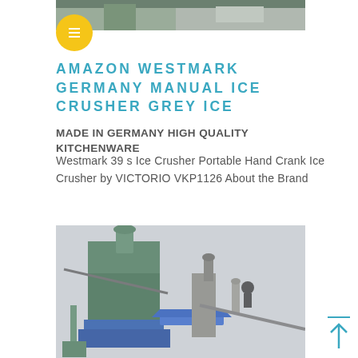[Figure (photo): Partial view of a stone crushing machine or industrial equipment at the top of the page]
AMAZON WESTMARK GERMANY MANUAL ICE CRUSHER GREY ICE
MADE IN GERMANY HIGH QUALITY KITCHENWARE
Westmark 39 s Ice Crusher Portable Hand Crank Ice Crusher by VICTORIO VKP1126 About the Brand
[Figure (photo): Industrial dust collector or air filtration equipment with blue and green metal structures, pipes, and a cyclone separator, photographed outdoors in overcast conditions]